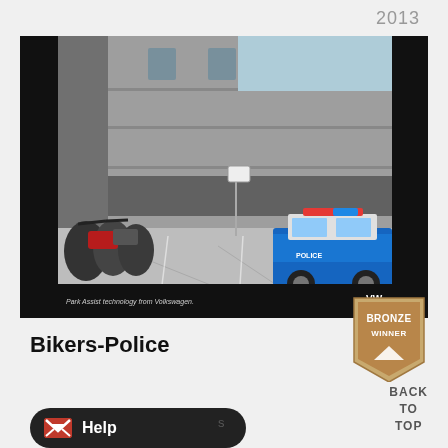2013
[Figure (photo): Photograph showing a parking lot scene in front of a brutalist concrete building. Multiple motorcycles parked on the left, a blue police car on the right. Text at bottom reads 'Park Assist technology from Volkswagen.' with Volkswagen logo.]
Bikers-Police
[Figure (illustration): Bronze winner badge/medal icon]
BACK
TO
TOP
Help
s